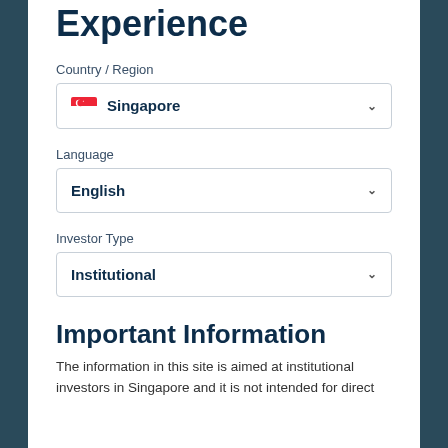Experience
Country / Region
Singapore
Language
English
Investor Type
Institutional
Important Information
The information in this site is aimed at institutional investors in Singapore and it is not intended for direct